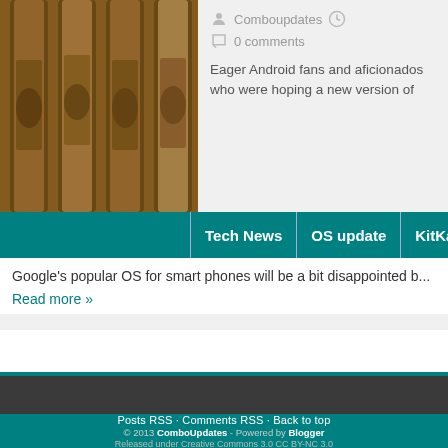[Figure (photo): Close-up photo of KitKat chocolate bars with embossed branding, brownish-gold tones]
Comboupdates  0 comments
Eager Android fans and aficionados  who were hoping a new version of
Tech News  OS update  KitKat  Android
Google's popular OS for smart phones will be a bit disappointed b...
Read more »
Posts RSS · Comments RSS · Back to top
© 2013 ComboUpdates - Powered by Blogger
Released under Creative Commons 3.0 CC BY-NC 3.0